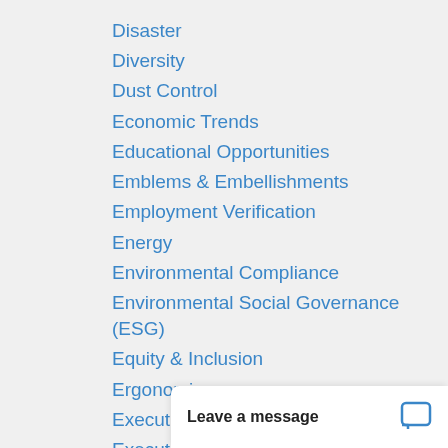Disaster
Diversity
Dust Control
Economic Trends
Educational Opportunities
Emblems & Embellishments
Employment Verification
Energy
Environmental Compliance
Environmental Social Governance (ESG)
Equity & Inclusion
Ergonomics
Executive
Executive Staff Appointments
Facility Services
Finance
First Aid
Fleet
Food and B…